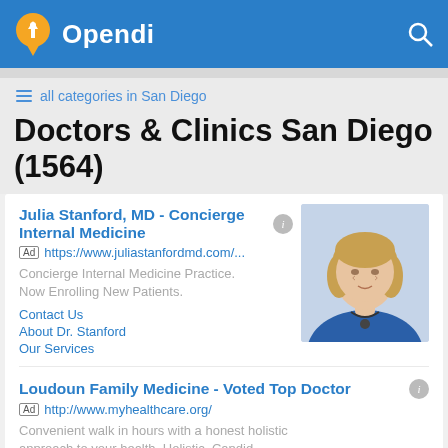Opendi
all categories in San Diego
Doctors & Clinics San Diego (1564)
Julia Stanford, MD - Concierge Internal Medicine
Ad https://www.juliastanfordmd.com/...
Concierge Internal Medicine Practice. Now Enrolling New Patients.
Contact Us
About Dr. Stanford
Our Services
[Figure (photo): Photo of Dr. Julia Stanford, a woman with blonde hair wearing a blue top with a stethoscope]
Loudoun Family Medicine - Voted Top Doctor
Ad http://www.myhealthcare.org/
Convenient walk in hours with a honest holistic approach to your health. Holistic. Candid.